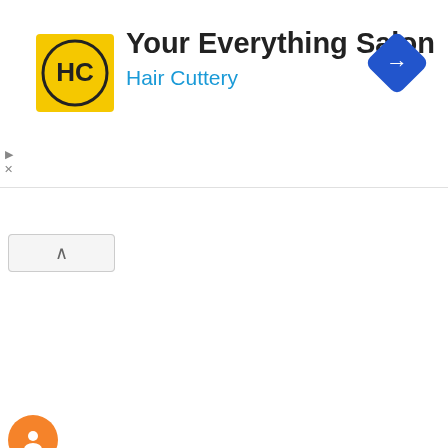[Figure (logo): Hair Cuttery advertisement banner with HC logo, 'Your Everything Salon' title, 'Hair Cuttery' subtitle in blue, and a blue diamond direction arrow icon]
looks like a great next step for the jewelry medium I enjoy the most. what I enjoy most is learning new techniques then combining them or adapting them to my own style. (whittywire@aol.com). Thank you for your inspiration
Pam
Reply
Voltzia
February 17, 2016 at 3:15 PM
Very delicate designs !
voltzia@gmail.com
Reply
Lise D.
February 17, 2016 at 5:14 PM
I have an ISK from Yoola and was making simple designs. I would love to expand my knowledge and make more